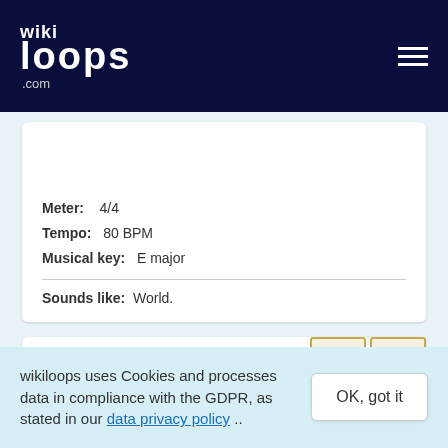wikiloops.com
Meter: 4/4
Tempo: 80 BPM
Musical key: E major
Sounds like: World.
Neuzeittango
World backing track #99970
[Figure (illustration): Four instrument icons: harmonica, microphone, music key/clef symbol, and handheld microphone]
wikiloops uses Cookies and processes data in compliance with the GDPR, as stated in our data privacy policy ..